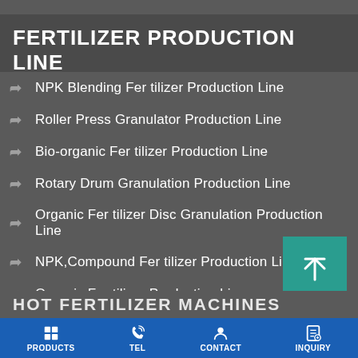FERTILIZER PRODUCTION LINE
NPK Blending Fertilizer Production Line
Roller Press Granulator Production Line
Bio-organic Fertilizer Production Line
Rotary Drum Granulation Production Line
Organic Fertilizer Disc Granulation Production Line
NPK,Compound Fertilizer Production Line
Organic Fertilizer Production Line
HOT FERTILIZER MACHINES
PRODUCTS   TEL   CONTACT   INQUIRY